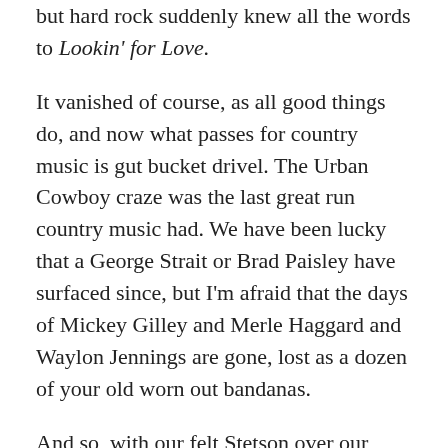but hard rock suddenly knew all the words to Lookin' for Love.
It vanished of course, as all good things do, and now what passes for country music is gut bucket drivel. The Urban Cowboy craze was the last great run country music had. We have been lucky that a George Strait or Brad Paisley have surfaced since, but I'm afraid that the days of Mickey Gilley and Merle Haggard and Waylon Jennings are gone, lost as a dozen of your old worn out bandanas.
And so, with our felt Stetson over our heart, we salute a time gone by with the Top 10 Mickey Gilley Songs, According To Me.
10. Room Full of Roses: "I just want my arms around